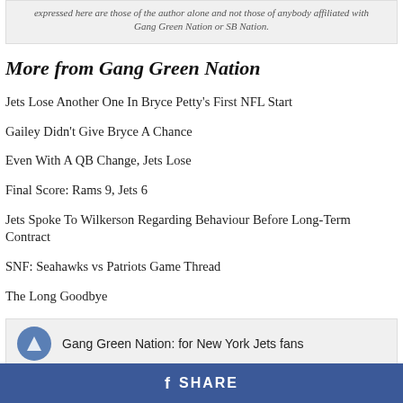expressed here are those of the author alone and not those of anybody affiliated with Gang Green Nation or SB Nation.
More from Gang Green Nation
Jets Lose Another One In Bryce Petty's First NFL Start
Gailey Didn't Give Bryce A Chance
Even With A QB Change, Jets Lose
Final Score: Rams 9, Jets 6
Jets Spoke To Wilkerson Regarding Behaviour Before Long-Term Contract
SNF: Seahawks vs Patriots Game Thread
The Long Goodbye
Gang Green Nation: for New York Jets fans
SHARE